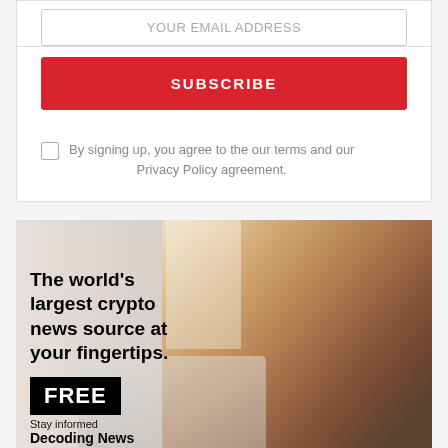YOUR EMAIL ADDRESS
SUBSCRIBE
By signing up, you agree to the our terms and our Privacy Policy agreement.
[Figure (infographic): Advertisement banner showing a woman working on a laptop with coffee cup, with text overlay: 'The world's largest crypto news source at your fingertips.' FREE badge. Bottom text: Stay informed, Decoding News.]